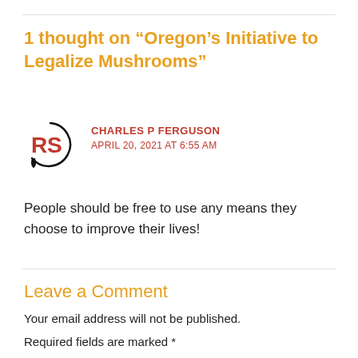1 thought on “Oregon’s Initiative to Legalize Mushrooms”
[Figure (logo): Red RS logo icon — stylized letters R and S inside a circular arc with drips, in a hand-drawn style]
CHARLES P FERGUSON
APRIL 20, 2021 AT 6:55 AM
People should be free to use any means they choose to improve their lives!
Leave a Comment
Your email address will not be published.
Required fields are marked *